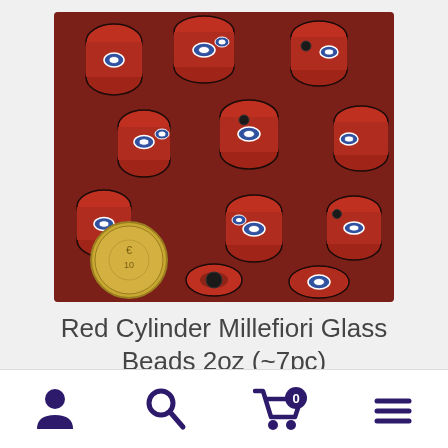[Figure (photo): Red cylinder Millefiori glass beads piled together with a coin for scale. The beads are red/brick-colored with blue and white eye/spiral patterns embedded in them. A gold-colored coin is visible in the lower left.]
Red Cylinder Millefiori Glass Beads 2oz (~7pc)
[Figure (infographic): Bottom navigation bar with four icons: user/account icon, search (magnifying glass) icon, shopping cart icon with badge showing 0, and hamburger menu icon. All icons are dark navy/purple colored.]